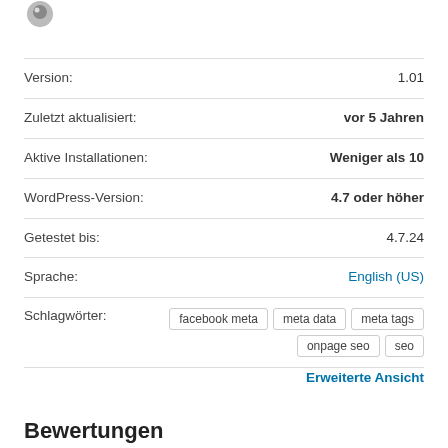[Figure (logo): Plugin logo icon, partially visible at top left]
| Version: | 1.01 |
| Zuletzt aktualisiert: | vor 5 Jahren |
| Aktive Installationen: | Weniger als 10 |
| WordPress-Version: | 4.7 oder höher |
| Getestet bis: | 4.7.24 |
| Sprache: | English (US) |
| Schlagwörter: | facebook meta  meta data  meta tags  onpage seo  seo |
Erweiterte Ansicht
Bewertungen